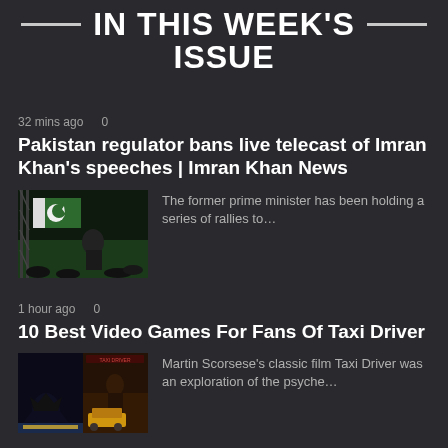IN THIS WEEK'S ISSUE
32 mins ago    0
Pakistan regulator bans live telecast of Imran Khan's speeches | Imran Khan News
[Figure (photo): Photo of Imran Khan speaking at a rally with Pakistan flag in background]
The former prime minister has been holding a series of rallies to…
1 hour ago    0
10 Best Video Games For Fans Of Taxi Driver
[Figure (photo): Collage of video game/movie images including Batman and Taxi Driver poster]
Martin Scorsese's classic film Taxi Driver was an exploration of the psyche…